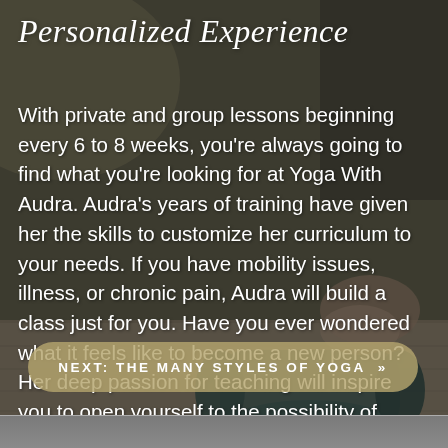Personalized Experience
With private and group lessons beginning every 6 to 8 weeks, you're always going to find what you're looking for at Yoga With Audra. Audra's years of training have given her the skills to customize her curriculum to your needs. If you have mobility issues, illness, or chronic pain, Audra will build a class just for you. Have you ever wondered what it feels like to become a new person? Her deep passion for teaching will inspire you to open yourself to the possibility of transformation.
NEXT: THE MANY STYLES OF YOGA »